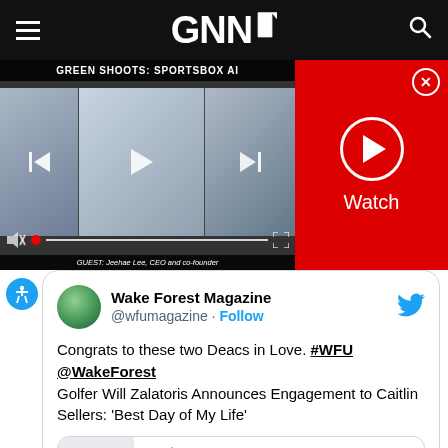GNNI
[Figure (screenshot): Video player showing Green Shoots: Sportsbox AI segment with two people on screen. Guest: Jeehae Lee, CEO and co-founder. Red panel on right with Watch button and close X.]
[Figure (screenshot): Embedded tweet from Wake Forest Magazine (@wfumagazine) with Follow button. Text: 'Congrats to these two Deacs in Love. #WFU @WakeForest Golfer Will Zalatoris Announces Engagement to Caitlin Sellers: Best Day of My Life'. Linked article from people.com: Golfer Will Zalatoris Announces Engagement to ...]